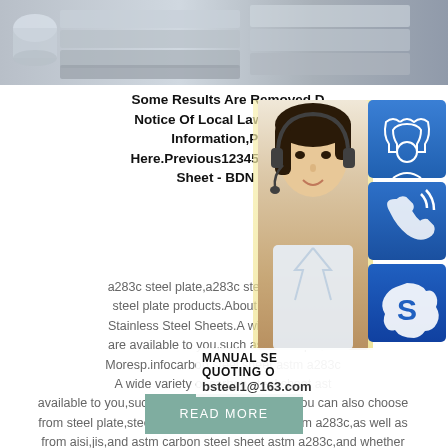[Figure (photo): Top banner showing stacked steel plates/sheets in a warehouse setting, grey tones]
Some Results Are Removed Due To A Notice Of Local Law Requirement.For More Information,Please See Here.Previous123456Nexta283c Steel Sheet - BDN STEEL
[Figure (photo): Woman with headset (customer service representative) overlaid with blue icon boxes for phone/skype, and contact overlay showing MANUAL SE, QUOTING O, bsteel1@163.com]
a283c steel plate,a283c steel plate Suppliers and steel plate products.About 96% of these are Stainless Steel Sheets.A wide variety of a283c are available to you,such as technique,t... Moresp.infocarbon steel sheet astm a283c A wide variety of carbon steel sheet astm a283 available to you,such as hot rolled,cold rolled. You can also choose from steel plate,steel coil carbon steel sheet astm a283c,as well as from aisi,jis,and astm carbon steel sheet astm a283c,and whether carbon steel sheet astm a283c
READ MORE